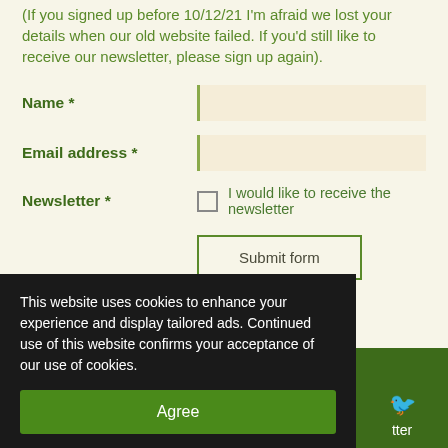(If you signed up before 10/12/21 I'm afraid we lost your details when our old website failed. If you'd still like to receive our newsletter, please sign up again).
Name *
Email address *
Newsletter *  I would like to receive the newsletter
Submit form
SASA registered Seed Merchant no. 3345
© 2021 - 2022 jemima's garden
This website uses cookies to enhance your experience and display tailored ads. Continued use of this website confirms your acceptance of our use of cookies.
Agree
tter